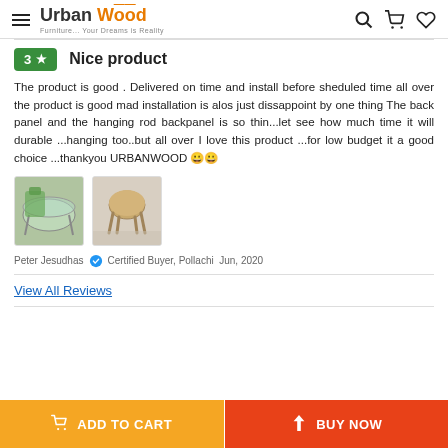Urban Wood — Furniture... Your Dreams is Reality
3 ★  Nice product
The product is good . Delivered on time and install before sheduled time all over the product is good mad installation is alos just dissappoint by one thing The back panel and the hanging rod backpanel is so thin...let see how much time it will durable ...hanging too..but all over I love this product ...for low budget it a good choice ...thankyou URBANWOOD 😊😊
[Figure (photo): Two product review photos: a glass-top side table and a small wooden stool]
Peter Jesudhas ✔ Certified Buyer, Pollachi  Jun, 2020
View All Reviews